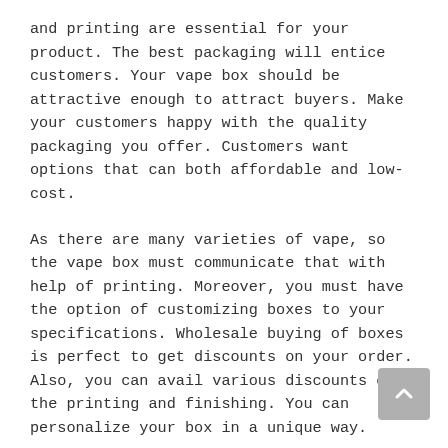and printing are essential for your product. The best packaging will entice customers. Your vape box should be attractive enough to attract buyers. Make your customers happy with the quality packaging you offer. Customers want options that can both affordable and low-cost.
As there are many varieties of vape, so the vape box must communicate that with help of printing. Moreover, you must have the option of customizing boxes to your specifications. Wholesale buying of boxes is perfect to get discounts on your order. Also, you can avail various discounts on the printing and finishing. You can personalize your box in a unique way.
CBD Boxes Can Earn Better Sales for Dispensary Items